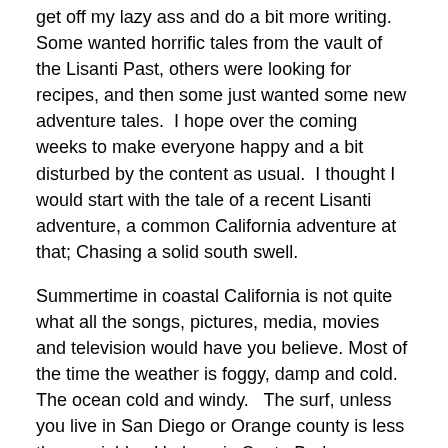get off my lazy ass and do a bit more writing.  Some wanted horrific tales from the vault of the Lisanti Past, others were looking for recipes, and then some just wanted some new adventure tales.  I hope over the coming weeks to make everyone happy and a bit disturbed by the content as usual.  I thought I would start with the tale of a recent Lisanti adventure, a common California adventure at that; Chasing a solid south swell.
Summertime in coastal California is not quite what all the songs, pictures, media, movies and television would have you believe. Most of the time the weather is foggy, damp and cold. The ocean cold and windy.   The surf, unless you live in San Diego or Orange county is less then amiable.  Up here in Santa Barbara unless you have a boat, access to the ranch or a plane ticket to Indo you might as well put your surf board away and take up lawn bowling.